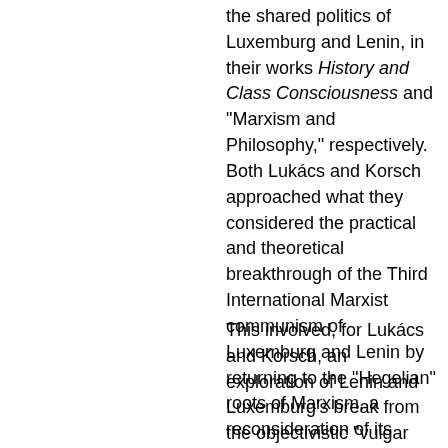the shared politics of Luxemburg and Lenin, in their works History and Class Consciousness and "Marxism and Philosophy," respectively. Both Lukács and Korsch approached what they considered the practical and theoretical breakthrough of the Third International Marxist communism of Luxemburg and Lenin by returning to the "Hegelian" roots of Marxism, a reconsideration of its "idealist" dimension, as opposed to a "materialist" objectivistic metaphysics that lied behind "economism," for example.
This involved, for Lukács and Korsch, an exploration of Lenin and Luxemburg's break from the objectivistic "vulgar Marxism" of the politics and theory of the Second International, exemplified by Karl Kautsky. Lukács's term for such objectivism was "reification"; Korsch addressed it by way of Marx's approach